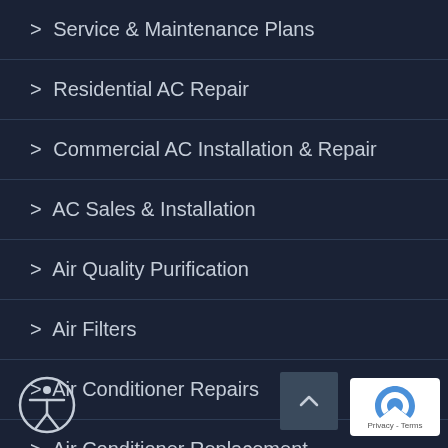> Service & Maintenance Plans
> Residential AC Repair
> Commercial AC Installation & Repair
> AC Sales & Installation
> Air Quality Purification
> Air Filters
> Air Conditioner Repairs
> Air Conditioner Replacement
> See Reviews